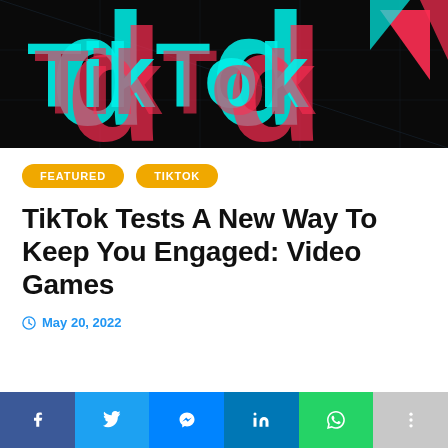[Figure (photo): TikTok logo on dark background with neon red and cyan colors]
FEATURED   TIKTOK
TikTok Tests A New Way To Keep You Engaged: Video Games
May 20, 2022